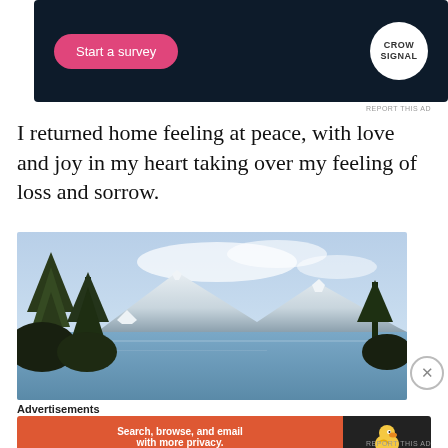[Figure (screenshot): Dark navy advertisement banner with a pink 'Start a survey' button on the left and a circular white CrowdSignal logo on the right]
REPORT THIS AD
I returned home feeling at peace, with love and joy in my heart taking over my feeling of loss and sorrow.
[Figure (photo): Landscape photograph showing pine trees in the foreground with snow-capped mountains and a lake or river in the background under a partly cloudy sky]
Advertisements
[Figure (screenshot): DuckDuckGo advertisement banner with orange left panel saying 'Search, browse, and email with more privacy. All in One Free App' and dark right panel with DuckDuckGo duck logo]
REPORT THIS AD